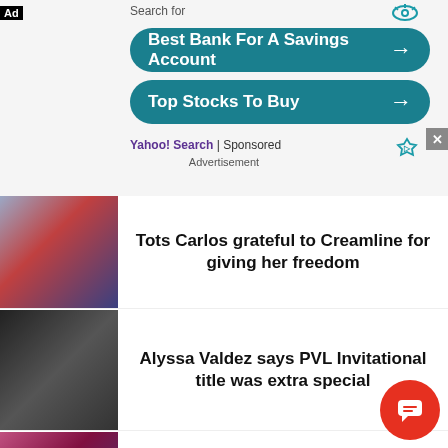[Figure (screenshot): Ad banner with 'Search for' label, two teal rounded-rectangle search buttons: 'Best Bank For A Savings Account' and 'Top Stocks To Buy', Yahoo! Search | Sponsored label, Advertisement text]
Search for
Best Bank For A Savings Account →
Top Stocks To Buy →
Yahoo! Search | Sponsored
Advertisement
[Figure (photo): Volleyball players in red and white uniforms celebrating]
Tots Carlos grateful to Creamline for giving her freedom
[Figure (photo): People wearing masks in a crowd, smiling]
Alyssa Valdez says PVL Invitational title was extra special
[Figure (photo): Volleyball team in pink uniforms standing on court]
Valdez excited for Creamline youngsters as they finally get to r... PH